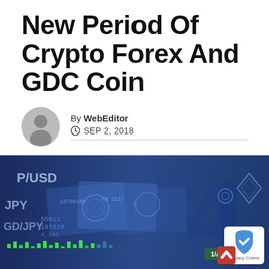New Period Of Crypto Forex And GDC Coin
By WebEditor
SEP 2, 2018
[Figure (photo): Blue-tinted composite image showing USD banknotes, forex currency pair labels (P/USD, JPY, GD/JPY), candlestick chart with green bars, and a silhouette figure with financial data overlay. Label '1/A' visible in bottom right area.]